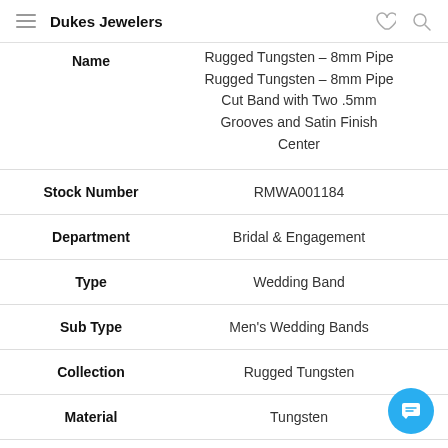Dukes Jewelers
| Field | Value |
| --- | --- |
| Name | Rugged Tungsten – 8mm Pipe Cut Band with Two .5mm Grooves and Satin Finish Center |
| Stock Number | RMWA001184 |
| Department | Bridal & Engagement |
| Type | Wedding Band |
| Sub Type | Men's Wedding Bands |
| Collection | Rugged Tungsten |
| Material | Tungsten |
| Width | 8.00 mm |